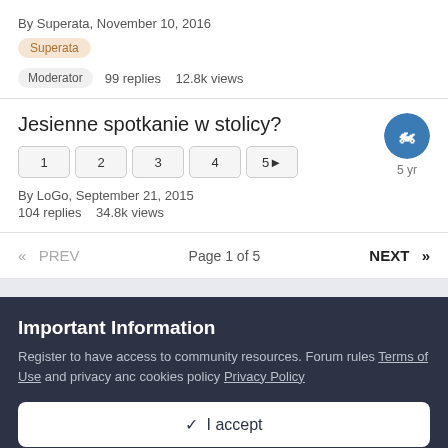By Superata, November 10, 2016
Superata
Moderator   99 replies   12.8k views
Jesienne spotkanie w stolicy?
1  2  3  4  5▶
By LoGo, September 21, 2015
104 replies   34.8k views
5 yr
«  PREV   Page 1 of 5   NEXT  »
Important Information
Register to have access to community resources. Forum rules Terms of Use and privacy anc cookies policy Privacy Policy
✓  I accept